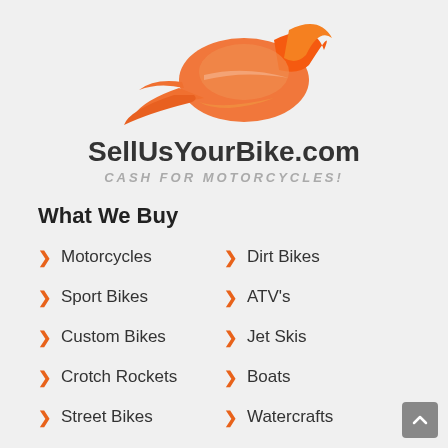[Figure (logo): SellUsYourBike.com logo with orange motorcycle/flame graphic above the site name and tagline]
SellUsYourBike.com
CASH FOR MOTORCYCLES!
What We Buy
Motorcycles
Dirt Bikes
Sport Bikes
ATV's
Custom Bikes
Jet Skis
Crotch Rockets
Boats
Street Bikes
Watercrafts